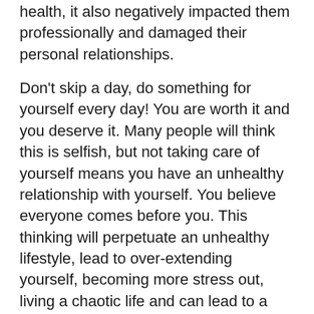health, it also negatively impacted them professionally and damaged their personal relationships.
Don't skip a day, do something for yourself every day! You are worth it and you deserve it. Many people will think this is selfish, but not taking care of yourself means you have an unhealthy relationship with yourself. You believe everyone comes before you. This thinking will perpetuate an unhealthy lifestyle, lead to over-extending yourself, becoming more stress out, living a chaotic life and can lead to a lifestyle that is out-of-control. You are only one person. You are enough, ask for help, learn to say no (nicely) and say YES to yourself. Your family, friends and co-workers will appreciate it, they will see a shift in your way of being and you will begin to feel happier. Life is for living!
Stay tuned, life comes with the rewards...